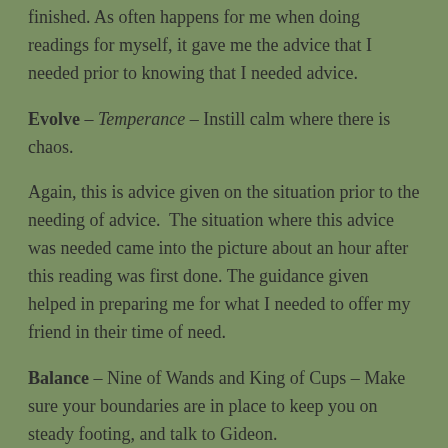finished. As often happens for me when doing readings for myself, it gave me the advice that I needed prior to knowing that I needed advice.
Evolve – Temperance – Instill calm where there is chaos.
Again, this is advice given on the situation prior to the needing of advice.  The situation where this advice was needed came into the picture about an hour after this reading was first done. The guidance given helped in preparing me for what I needed to offer my friend in their time of need.
Balance – Nine of Wands and King of Cups – Make sure your boundaries are in place to keep you on steady footing, and talk to Gideon.